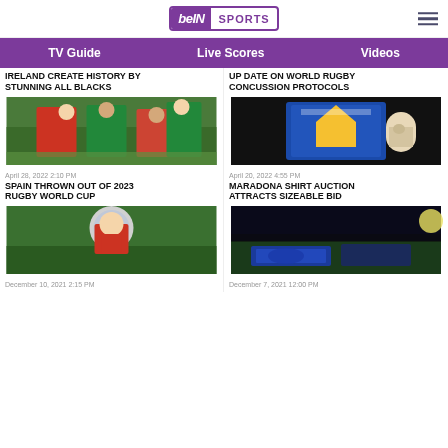beIN SPORTS
TV Guide | Live Scores | Videos
IRELAND CREATE HISTORY BY STUNNING ALL BLACKS
[Figure (photo): Rugby match action shot with players in green and red jerseys]
April 28, 2022 2:10 PM
SPAIN THROWN OUT OF 2023 RUGBY WORLD CUP
[Figure (photo): Rugby player holding trophy on green field]
December 10, 2021 2:15 PM
UP TO DATE ON WORLD RUGBY CONCUSSION PROTOCOLS
[Figure (photo): Blue Argentina football shirt on mannequin displayed at auction]
April 20, 2022 4:55 PM
MARADONA SHIRT AUCTION ATTRACTS SIZEABLE BID
[Figure (photo): Rugby advertising board at night stadium]
December 7, 2021 12:00 PM